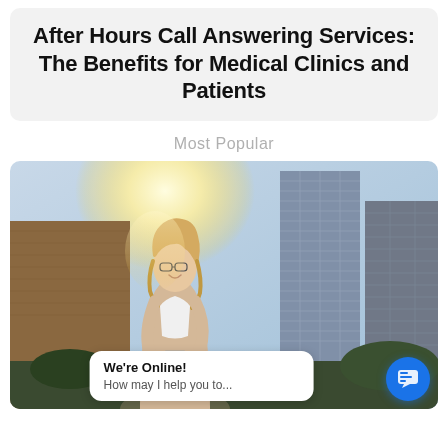After Hours Call Answering Services: The Benefits for Medical Clinics and Patients
Most Popular
[Figure (photo): Woman with glasses smiling and looking at her phone outdoors in an urban setting with tall glass buildings in the background and bright sunlight. An online chat bubble overlay reads 'We're Online! How may I help you to...' with a blue chat icon button.]